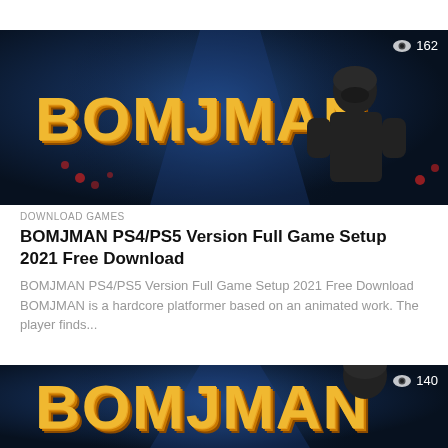[Figure (screenshot): BOMJMAN game banner image with dark blue background, spotlight, golden 3D text 'BOMJMAN', and a character in black outfit. View count badge showing eye icon and 162.]
DOWNLOAD GAMES
BOMJMAN PS4/PS5 Version Full Game Setup 2021 Free Download
BOMJMAN PS4/PS5 Version Full Game Setup 2021 Free Download BOMJMAN is a hardcore platformer based on an animated work. The player finds...
[Figure (screenshot): Partial BOMJMAN game banner image (second card), same dark blue background with spotlight and partial golden 'BOMJMAN' text visible. View count badge showing eye icon and 140.]